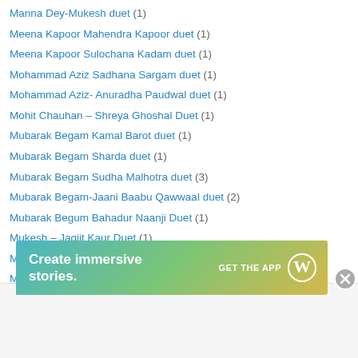Manna Dey-Mukesh duet (1)
Meena Kapoor Mahendra Kapoor duet (1)
Meena Kapoor Sulochana Kadam duet (1)
Mohammad Aziz Sadhana Sargam duet (1)
Mohammad Aziz- Anuradha Paudwal duet (1)
Mohit Chauhan – Shreya Ghoshal Duet (1)
Mubarak Begam Kamal Barot duet (1)
Mubarak Begam Sharda duet (1)
Mubarak Begam Sudha Malhotra duet (3)
Mubarak Begam-Jaani Baabu Qawwaal duet (2)
Mubarak Begum Bahadur Naanji Duet (1)
Mukesh – Jagjit Kaur Duet (1)
Mukesh – Sulakshana Pandit Duets (1)
Mukesh -Suraiyya duet (7)
Mukesh Geeta Dutt duet (14)
Mukesh Hamida Banu duet (6)
Advertisements
[Figure (infographic): WordPress advertisement banner: 'Create immersive stories. GET THE APP' with WordPress logo]